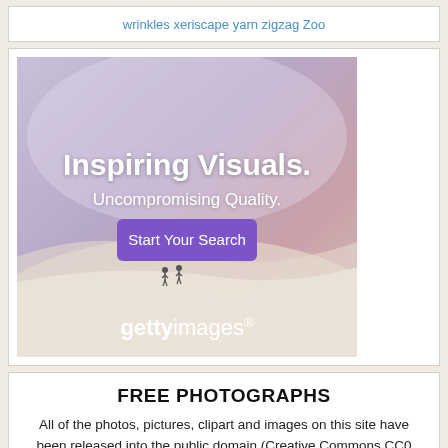wrinkles xeriscape yarn zigzag Zoo
[Figure (illustration): Getty Images advertisement banner with gradient background (lavender/pink/beige tones), two small figures walking, text 'Inspiring Visuals. Uncompromising Quality.' with a purple 'Start Your Search' button and 'gettyimages' logo]
FREE PHOTOGRAPHS
All of the photos, pictures, clipart and images on this site have been released into the public domain (Creative Commons CC0 designation for international use). This means that you are free to download them and use the photos for any use including